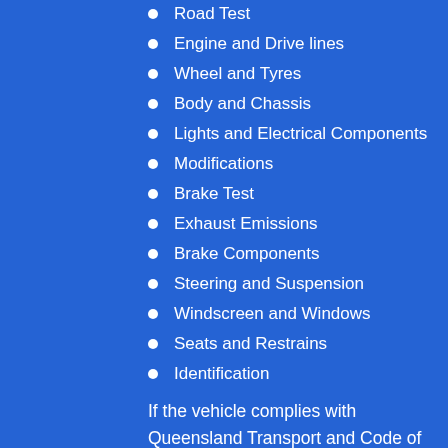Road Test
Engine and Drive lines
Wheel and Tyres
Body and Chassis
Lights and Electrical Components
Modifications
Brake Test
Exhaust Emissions
Brake Components
Steering and Suspension
Windscreen and Windows
Seats and Restrains
Identification
If the vehicle complies with Queensland Transport and Code of Practice standards, the Safety Certificate / Roadworthy will be issued on the spot by the Inspector.